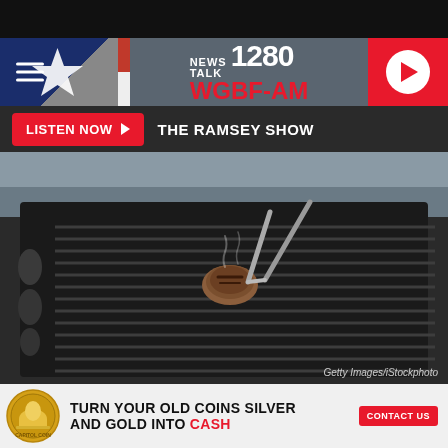[Figure (screenshot): Top black bar at top of page]
[Figure (logo): News Talk 1280 WGBF-AM radio station header banner with Texas flag, logo, and red play button]
LISTEN NOW ▶  THE RAMSEY SHOW
[Figure (photo): Close-up photo of a piece of meat being grilled on a dark grill grate, held by metal tongs, with steam rising]
Getty Images/iStockphoto
[Figure (infographic): Capitol Coin advertisement: TURN YOUR OLD COINS SILVER AND GOLD INTO CASH - CONTACT US]